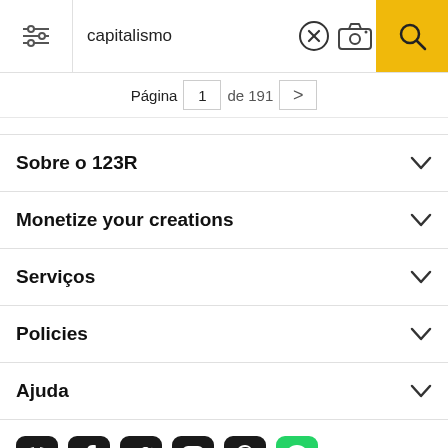capitalismo
Página 1 de 191 >
Sobre o 123R
Monetize your creations
Serviços
Policies
Ajuda
[Figure (illustration): Social media icons row: Discord, Facebook, Twitter, Instagram, Pinterest, WhatsApp]
Todos os direitos reservados. © Inmagine Lab Pte Ltd 2022.